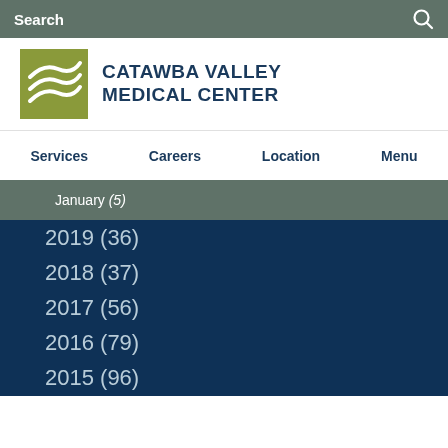Search
[Figure (logo): Catawba Valley Medical Center logo with stylized wave graphic in olive green and bold dark blue text]
Services  Careers  Location  Menu
January (5)
2019 (36)
2018 (37)
2017 (56)
2016 (79)
2015 (96)